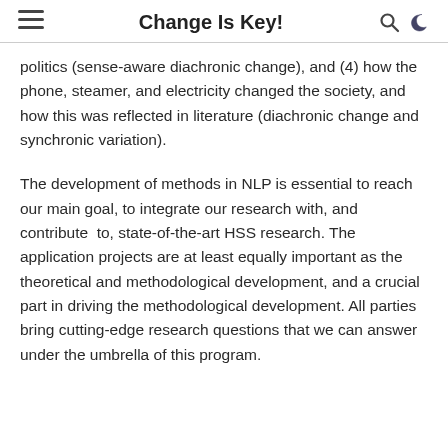Change Is Key!
politics (sense-aware diachronic change), and (4) how the phone, steamer, and electricity changed the society, and how this was reflected in literature (diachronic change and synchronic variation).
The development of methods in NLP is essential to reach our main goal, to integrate our research with, and contribute to, state-of-the-art HSS research. The application projects are at least equally important as the theoretical and methodological development, and a crucial part in driving the methodological development. All parties bring cutting-edge research questions that we can answer under the umbrella of this program.